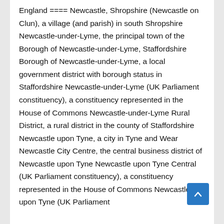England ==== Newcastle, Shropshire (Newcastle on Clun), a village (and parish) in south Shropshire Newcastle-under-Lyme, the principal town of the Borough of Newcastle-under-Lyme, Staffordshire Borough of Newcastle-under-Lyme, a local government district with borough status in Staffordshire Newcastle-under-Lyme (UK Parliament constituency), a constituency represented in the House of Commons Newcastle-under-Lyme Rural District, a rural district in the county of Staffordshire Newcastle upon Tyne, a city in Tyne and Wear Newcastle City Centre, the central business district of Newcastle upon Tyne Newcastle upon Tyne Central (UK Parliament constituency), a constituency represented in the House of Commons Newcastle upon Tyne (UK Parliament...